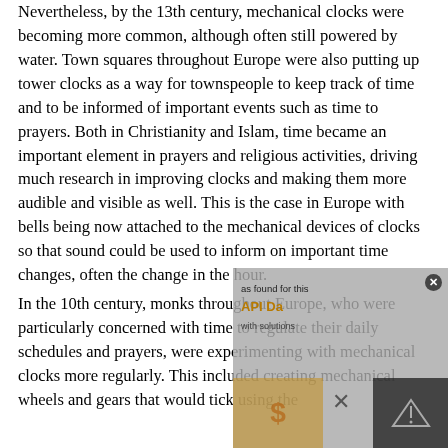Nevertheless, by the 13th century, mechanical clocks were becoming more common, although often still powered by water. Town squares throughout Europe were also putting up tower clocks as a way for townspeople to keep track of time and to be informed of important events such as time to prayers. Both in Christianity and Islam, time became an important element in prayers and religious activities, driving much research in improving clocks and making them more audible and visible as well. This is the case in Europe with bells being now attached to the mechanical devices of clocks so that sound could be used to inform on important time changes, often the change in the hour.
In the 10th century, monks throughout Europe, who were particularly concerned with time to regulate their daily schedules and prayers, were experimenting with mechanical clocks more regularly. This included creating mechanical wheels and gears that would tick using the